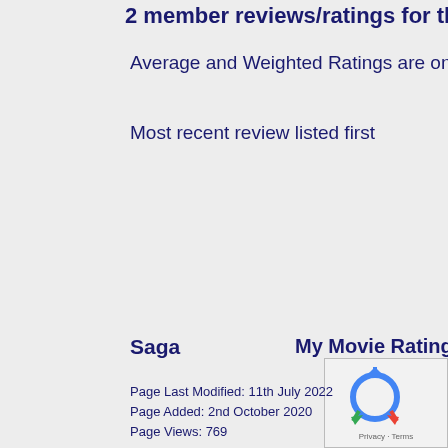2 member reviews/ratings for this movie
Average and Weighted Ratings are only available
Most recent review listed first
Saga
My Movie Rating:
Page Last Modified: 11th July 2022
Page Added: 2nd October 2020
Page Views: 769
This site is non-commercial and is not an official or representative web directly to any of the images on this site - please upload them to your ow
While every effort will be made to ensure that no offens content posted or linked to by its members.
PHORM PROHIBITED
The contents of this site, and communications between and the and and of the Regulation of Investigatory Powers Act 2000. The use of those d